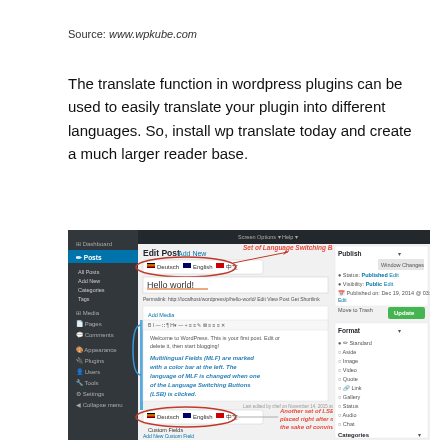Source: www.wpkube.com
The translate function in wordpress plugins can be used to easily translate your plugin into different languages. So, install wp translate today and create a much larger reader base.
[Figure (screenshot): WordPress Edit Post admin panel screenshot showing Language Switching Buttons (LSB) and Multilingual Fields (MLF) annotations. The screenshot shows the WordPress backend with language flags (Deutsch, English, Chinese), a post editor with 'Hello world!' title, and annotation text explaining that Multilingual Fields (MLF) are marked with a color bar at the left and that the language changes when a Language Switching Button is clicked. Another annotation points to a second set of LSB placed right after main editor for the sake of convinience.]